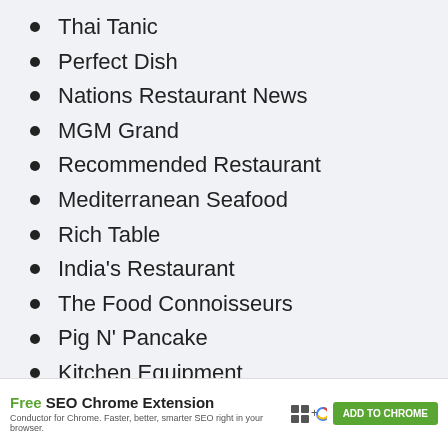Thai Tanic
Perfect Dish
Nations Restaurant News
MGM Grand
Recommended Restaurant
Mediterranean Seafood
Rich Table
India's Restaurant
The Food Connoisseurs
Pig N' Pancake
Kitchen Equipment
Rolls
[Figure (screenshot): Advertisement banner: Free SEO Chrome Extension by Conductor for Chrome. Faster, better, smarter SEO right in your browser. ADD TO CHROME button.]